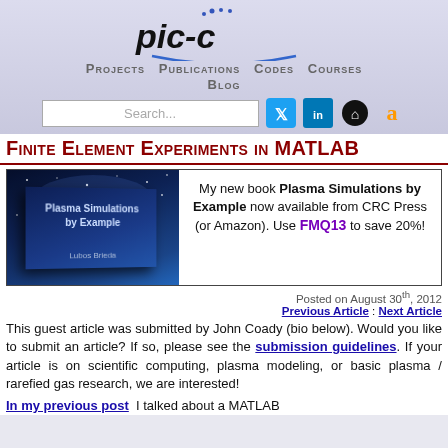[Figure (logo): pic-c website logo with blue arc and dots]
Projects   Publications   Codes   Courses   Blog
[Figure (screenshot): Search box and social media icons (Twitter, LinkedIn, GitHub, Amazon)]
Finite Element Experiments in MATLAB
[Figure (photo): Promotional banner for book Plasma Simulations by Example, now available from CRC Press (or Amazon). Use FMQ13 to save 20%!]
Posted on August 30th, 2012
Previous Article : Next Article
This guest article was submitted by John Coady (bio below). Would you like to submit an article? If so, please see the submission guidelines. If your article is on scientific computing, plasma modeling, or basic plasma / rarefied gas research, we are interested!
In my previous post  I talked about a MATLAB implementation of the Finite Element method, the basis of